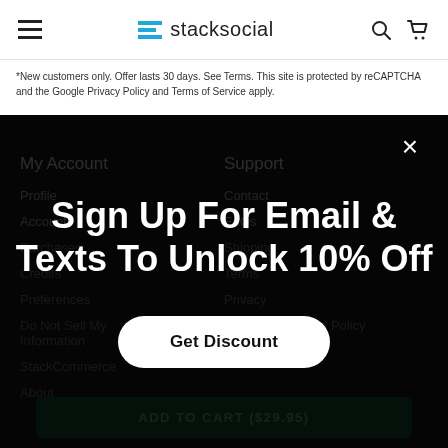stacksocial
*New customers only. Offer lasts 30 days. See Terms. This site is protected by reCAPTCHA and the Google Privacy Policy and Terms of Service apply.
My Account
Profile
Account
Purchases
Credits
Preferences
Do Not Sell My Information
StackCommerce
About
Support
Contact
FAQs
Shipping
Terms
Privacy
Returns & Refund Policy
Sign Up For Email & Texts To Unlock 10% Off
Get Discount
ADD TO CART ($29.95)